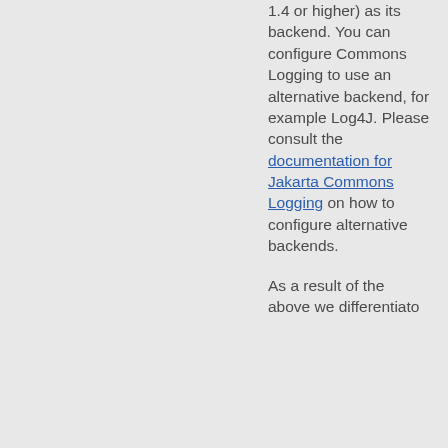1.4 or higher) as its backend. You can configure Commons Logging to use an alternative backend, for example Log4J. Please consult the documentation for Jakarta Commons Logging on how to configure alternative backends.

As a result of the above we differentiato...